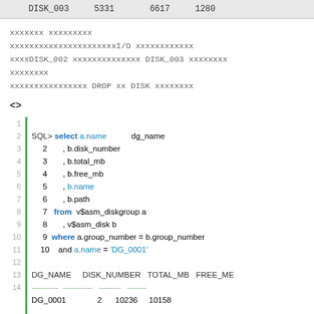|  | DISK_003 | 5331 | 6617 | 1280 |
| --- | --- | --- | --- | --- |
xxxxxxx xxxxxxxxx
xxxxxxxxxxxxxxxxxxxxxxI/O xxxxxxxxxxxx
xxxxDISK_002 xxxxxxxxxxxxxx DISK_003 xxxxxxxx
xxxxxxxx
xxxxxxxxxxxxxxxx DROP xx DISK xxxxxxxx
<>
[Figure (screenshot): SQL code block showing a SELECT query on v$asm_diskgroup and v$asm_disk with WHERE clause filtering by DG_0001, followed by result header showing DG_NAME, DISK_NUMBER, TOTAL_MB, FREE_MB columns and first data row DG_0001, 2, 10236, 10158]